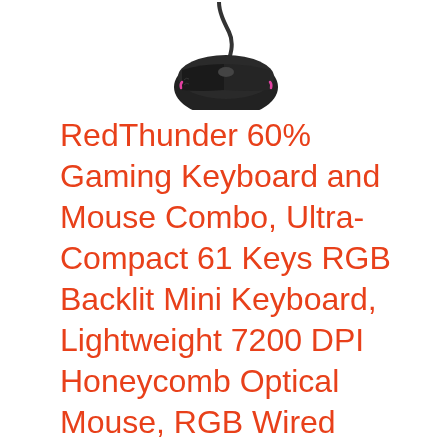[Figure (photo): Partial top view of a gaming mouse with a cable, dark/black color with RGB lighting hints, shown from above against a white background. Only the upper portion of the mouse is visible.]
RedThunder 60% Gaming Keyboard and Mouse Combo, Ultra-Compact 61 Keys RGB Backlit Mini Keyboard, Lightweight 7200 DPI Honeycomb Optical Mouse, RGB Wired Gaming Set for PC MAC PS5 Xbox Gamer(Black)